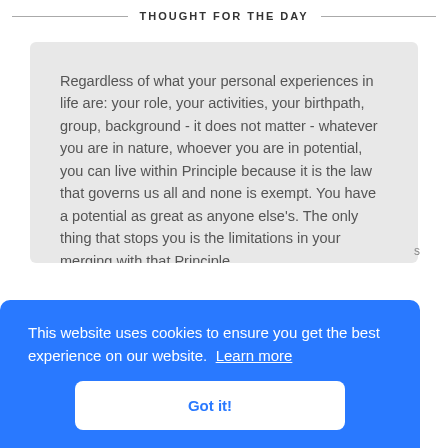THOUGHT FOR THE DAY
Regardless of what your personal experiences in life are: your role, your activities, your birthpath, group, background - it does not matter - whatever you are in nature, whoever you are in potential, you can live within Principle because it is the law that governs us all and none is exempt. You have a potential as great as anyone else's. The only thing that stops you is the limitations in your merging with that Principle.
This website uses cookies to ensure you get the best experience on our website.  Learn more
Got it!